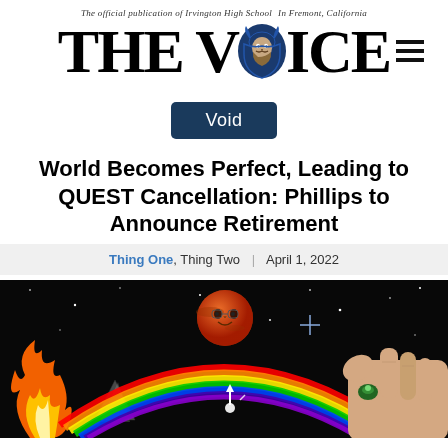The official publication of Irvington High School | In Fremont, California | THE VOICE
[Figure (logo): The Voice newspaper logo with viking mascot image embedded in the letter O, large serif bold text reading THE VOICE]
Void
World Becomes Perfect, Leading to QUEST Cancellation: Phillips to Announce Retirement
Thing One, Thing Two | April 1, 2022
[Figure (photo): A dramatic composite image with a black background showing fire on the left, a red planet with a face in the center top, a rainbow arc in the middle, a hand pressing something on the right, stars scattered throughout, and a prism-like light effect.]